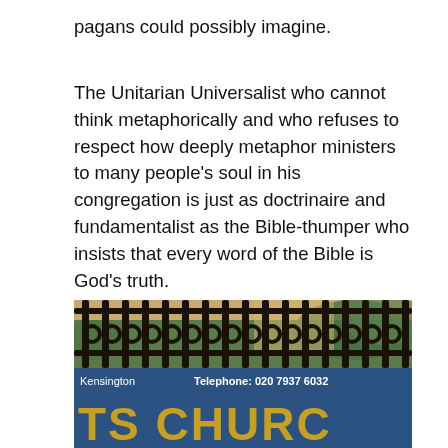pagans could possibly imagine.
The Unitarian Universalist who cannot think metaphorically and who refuses to respect how deeply metaphor ministers to many people’s soul in his congregation is just as doctrinaire and fundamentalist as the Bible-thumper who insists that every word of the Bible is God’s truth.
Same. I’m telling you. I think the future of the Church depends on our ability to move beyond terminal uniqueness.
[Figure (photo): Photograph of a church sign in blue with gold lettering reading 'TS CHURCH' at the bottom, showing 'Kensington' and 'Telephone: 020 7937 6032' at the top. The sign is behind decorative iron fencing with greenery visible in the background.]